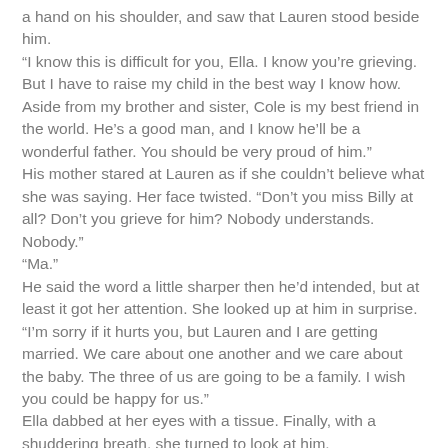a hand on his shoulder, and saw that Lauren stood beside him. “I know this is difficult for you, Ella. I know you’re grieving. But I have to raise my child in the best way I know how. Aside from my brother and sister, Cole is my best friend in the world. He’s a good man, and I know he’ll be a wonderful father. You should be very proud of him.” His mother stared at Lauren as if she couldn’t believe what she was saying. Her face twisted. “Don’t you miss Billy at all? Don’t you grieve for him? Nobody understands. Nobody.” “Ma.” He said the word a little sharper then he’d intended, but at least it got her attention. She looked up at him in surprise. “I’m sorry if it hurts you, but Lauren and I are getting married. We care about one another and we care about the baby. The three of us are going to be a family. I wish you could be happy for us.” Ella dabbed at her eyes with a tissue. Finally, with a shuddering breath, she turned to look at him. “For Billy’s baby’s sake, I’ll try.” Billy’s baby. The pain was swift and unexpected. If she’d stabbed him